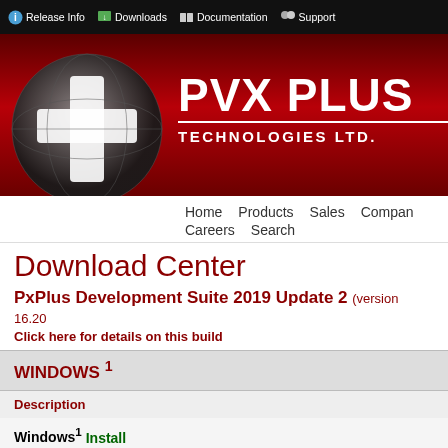Release Info | Downloads | Documentation | Support
[Figure (logo): PVX Plus Technologies Ltd. logo with globe and cross icon on dark red banner background]
Home | Products | Sales | Company | Careers | Search
Download Center
PxPlus Development Suite 2019 Update 2 (version 16.20)
Click here for details on this build
| WINDOWS 1 | Description |
| --- | --- |
| Windows1 Install |  |
| Windows1 ZIP INSTALLATION |  |
Unix or Unix-like systems